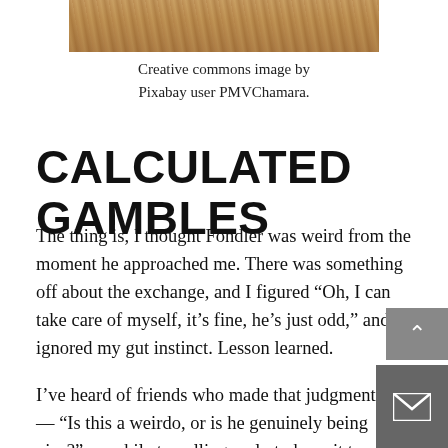[Figure (photo): Close-up photo of sandy desert or sandy surface, warm sandy-brown tones, cropped at top of page]
Creative commons image by Pixabay user PMVChamara.
CALCULATED GAMBLES
The thing is, I thought Fondler was weird from the moment he approached me. There was something off about the exchange, and I figured “Oh, I can take care of myself, it’s fine, he’s just odd,” and I ignored my gut instinct. Lesson learned.
I’ve heard of friends who made that judgment call — “Is this a weirdo, or is he genuinely being nice?” — while travelling, only to have it turn into a great all-night conversation with a blues bar and unforgettable personalities. I’ve had others who made similar calls